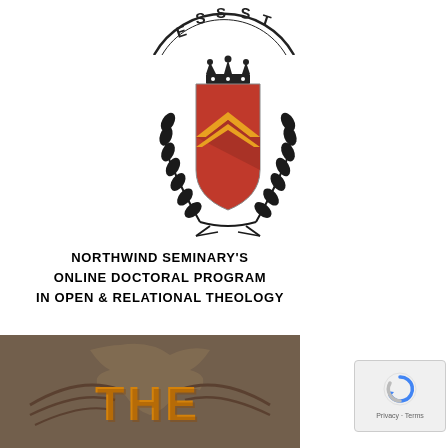[Figure (logo): Partial circular seal or stamp at top, showing letters ESS and ST visible along the arc]
[Figure (logo): Heraldic crest: a shield with red background and gold/yellow chevron, topped by a crown, surrounded by laurel wreaths on both sides]
NORTHWIND SEMINARY'S ONLINE DOCTORAL PROGRAM IN OPEN & RELATIONAL THEOLOGY
[Figure (logo): Partial bottom image showing the word THE in orange/golden letters with a stylized animal figure on a dark grey/brown background]
[Figure (other): reCAPTCHA widget showing a circular arrow icon and Privacy/Terms text]